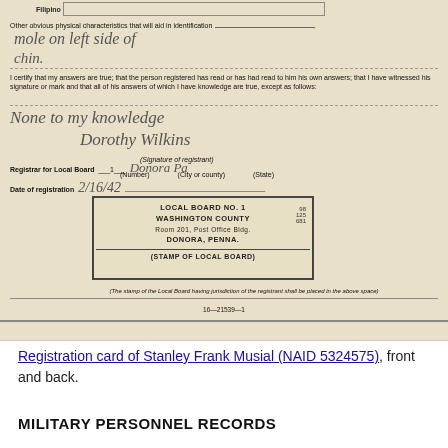[Figure (photo): Scanned back of WWII Draft Registration Card for Stanley Frank Musial. Shows: Filipino race row at top, handwritten field for 'Other obvious physical characteristics' reading 'mole on left side of chin', certification text, handwritten 'None to my knowledge' and signature 'Dorothy Wilkins', Registrar for Local Board fields, date of registration '2/16/42', and official stamp box reading 'LOCAL BOARD NO. 1, WASHINGTON COUNTY, Room 201, Post Office Bldg., DONORA, PENNA.' with (STAMP OF LOCAL BOARD) label and footnote text, plus form number 16-21539-1.]
Registration card of Stanley Frank Musial (NAID 5324575), front and back.
MILITARY PERSONNEL RECORDS